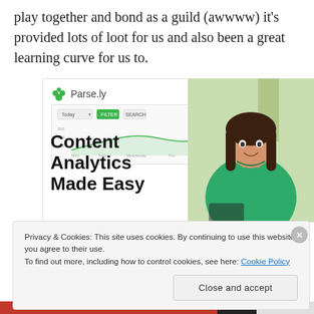play together and bond as a guild (awwww) it's provided lots of loot for us and also been a great learning curve for us to.
[Figure (screenshot): Parse.ly advertisement showing a content analytics dashboard screenshot with a logo, a line chart UI, and a photo of a smiling woman in a green sweater]
Content Analytics Made Easy
Privacy & Cookies: This site uses cookies. By continuing to use this website, you agree to their use.
To find out more, including how to control cookies, see here: Cookie Policy
Close and accept